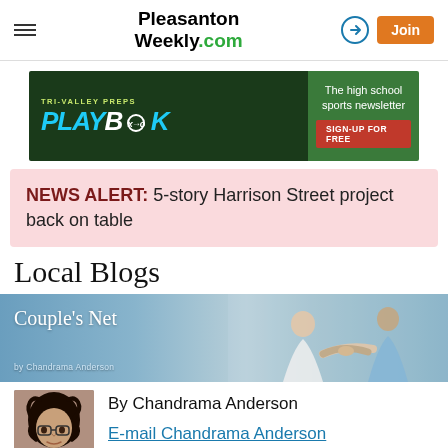Pleasanton Weekly.com
[Figure (infographic): Tri-Valley Preps Playbook advertisement banner: green background with large italic 'PLAYBOOK' text and 'The high school sports newsletter SIGN-UP FOR FREE' on the right]
NEWS ALERT: 5-story Harrison Street project back on table
Local Blogs
[Figure (photo): Couple's Net blog banner with blue sky background showing two people reaching toward each other; text reads 'Couple's Net by Chandrama Anderson']
By Chandrama Anderson
[Figure (photo): Author photo of Chandrama Anderson, a woman with curly dark hair and glasses]
E-mail Chandrama Anderson